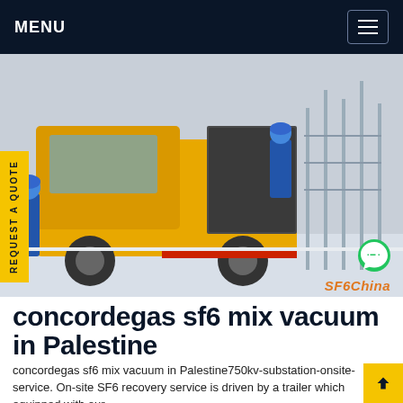MENU
[Figure (photo): A yellow truck/van with workers in blue coveralls and hard hats at an electrical substation in winter/snowy conditions. Workers are accessing equipment on the back of the truck. SF6China watermark visible.]
concordegas sf6 mix vacuum in Palestine
concordegas sf6 mix vacuum in Palestine750kv-substation-onsite-service. On-site SF6 recovery service is driven by a trailer which equipped with our